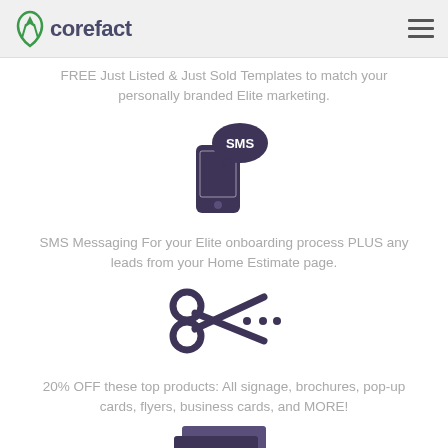corefact
FREE Just Listed & Just Sold Templates to match your personally branded Elite marketing.
[Figure (illustration): SMS icon: smartphone with speech bubble saying SMS]
SMS Messaging For your Elite onboarding process PLUS any leads from your Home Estimate page.
[Figure (illustration): Scissors icon with dotted cut line]
20% OFF these top products: All signage, brochures, pop-up cards, flyers, business cards, and MORE!
[Figure (illustration): Business cards icon partially visible at bottom]